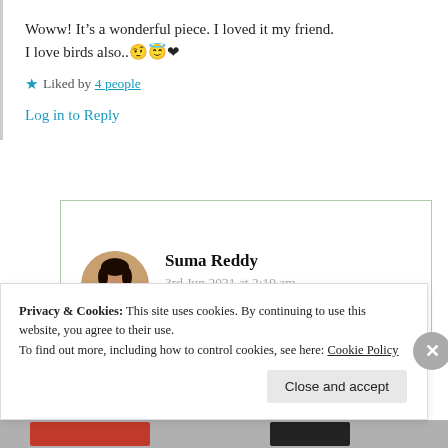Woww! It’s a wonderful piece. I loved it my friend. I love birds also..🥸😘❤️
★ Liked by 4 people
Log in to Reply
Suma Reddy
3rd Jun 2021 at 2:19 am
Privacy & Cookies: This site uses cookies. By continuing to use this website, you agree to their use.
To find out more, including how to control cookies, see here: Cookie Policy